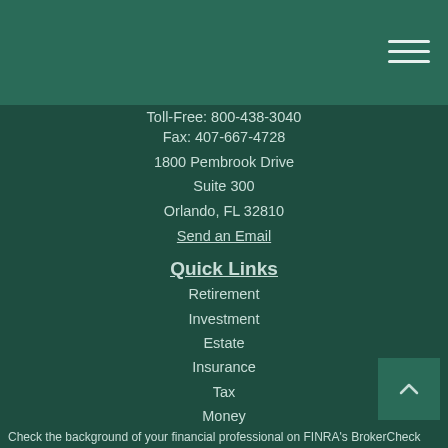Toll-Free: 800-438-3040
Fax: 407-667-4728
1800 Pembrook Drive
Suite 300
Orlando, FL 32810
Send an Email
Quick Links
Retirement
Investment
Estate
Insurance
Tax
Money
Lifestyle
All Articles
All Videos
All Calculators
All Presentations
Check the background of your financial professional on FINRA's BrokerCheck